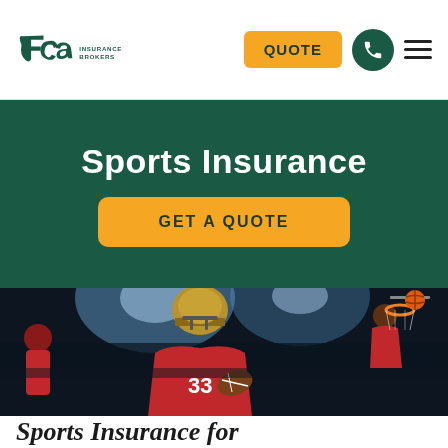FCA Insurance Brokers — QUOTE navigation
Sports Insurance
GET A QUOTE
[Figure (photo): Composite sports action photo: American football player in red uniform #33 holding ball, basketball player dunking in background, stadium lights, sports collage]
Sports Insurance for